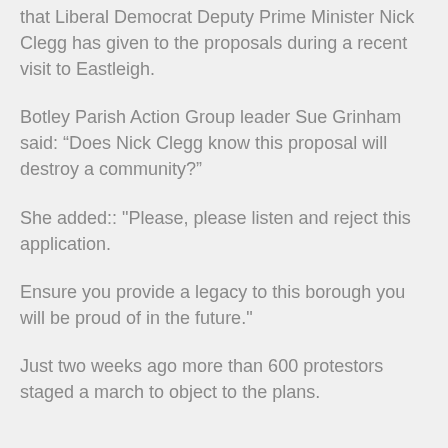that Liberal Democrat Deputy Prime Minister Nick Clegg has given to the proposals during a recent visit to Eastleigh.
Botley Parish Action Group leader Sue Grinham said: “Does Nick Clegg know this proposal will destroy a community?”
She added:: "Please, please listen and reject this application.
Ensure you provide a legacy to this borough you will be proud of in the future."
Just two weeks ago more than 600 protestors staged a march to object to the plans.